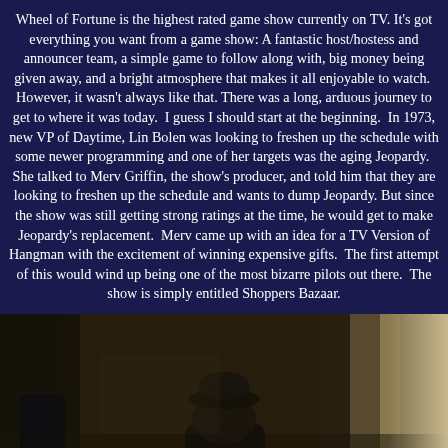Wheel of Fortune is the highest rated game show currently on TV. It's got everything you want from a game show: A fantastic host/hostess and announcer team, a simple game to follow along with, big money being given away, and a bright atmosphere that makes it all enjoyable to watch. However, it wasn't always like that. There was a long, arduous journey to get to where it was today. I guess I should start at the beginning. In 1973, new VP of Daytime, Lin Bolen was looking to freshen up the schedule with some newer programming and one of her targets was the aging Jeopardy. She talked to Merv Griffin, the show's producer, and told him that they are looking to freshen up the schedule and wants to dump Jeopardy. But since the show was still getting strong ratings at the time, he would get to make Jeopardy's replacement. Merv came up with an idea for a TV Version of Hangman with the excitement of winning expensive gifts. The first attempt of this would wind up being one of the most bizarre pilots out there. The show is simply entitled Shoppers Bazaar.
[Figure (photo): A dark, dimly lit photograph showing a person (partially visible silhouette/figure) in what appears to be an indoor setting. The image is quite dark with brownish and dark tones.]